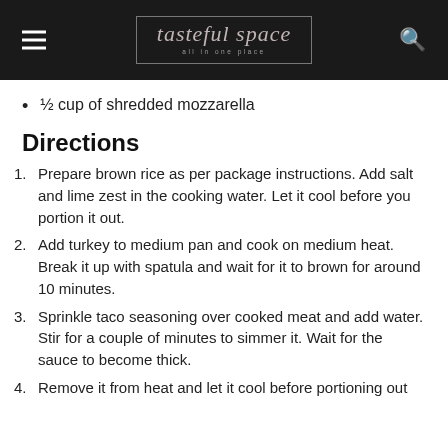tasteful space — all in one place
½ cup of shredded mozzarella
Directions
Prepare brown rice as per package instructions. Add salt and lime zest in the cooking water. Let it cool before you portion it out.
Add turkey to medium pan and cook on medium heat. Break it up with spatula and wait for it to brown for around 10 minutes.
Sprinkle taco seasoning over cooked meat and add water. Stir for a couple of minutes to simmer it. Wait for the sauce to become thick.
Remove it from heat and let it cool before portioning out